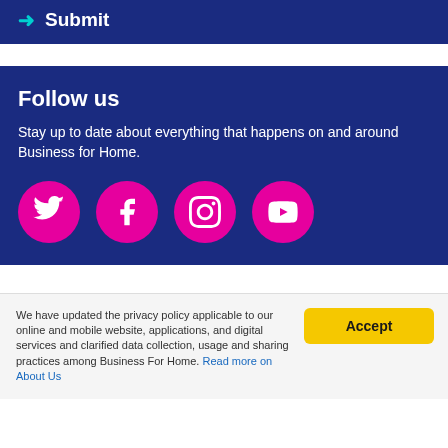→ Submit
Follow us
Stay up to date about everything that happens on and around Business for Home.
[Figure (infographic): Four pink circular social media icons: Twitter, Facebook, Instagram, YouTube]
We have updated the privacy policy applicable to our online and mobile website, applications, and digital services and clarified data collection, usage and sharing practices among Business For Home. Read more on About Us
Accept